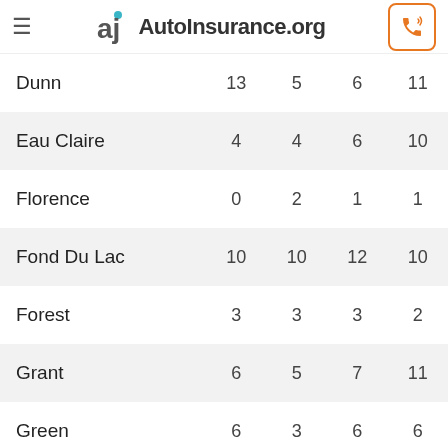AutoInsurance.org
| Dunn | 13 | 5 | 6 | 11 |
| Eau Claire | 4 | 4 | 6 | 10 |
| Florence | 0 | 2 | 1 | 1 |
| Fond Du Lac | 10 | 10 | 12 | 10 |
| Forest | 3 | 3 | 3 | 2 |
| Grant | 6 | 5 | 7 | 11 |
| Green | 6 | 3 | 6 | 6 |
| Green Lake | 1 | 2 | 2 | 1 |